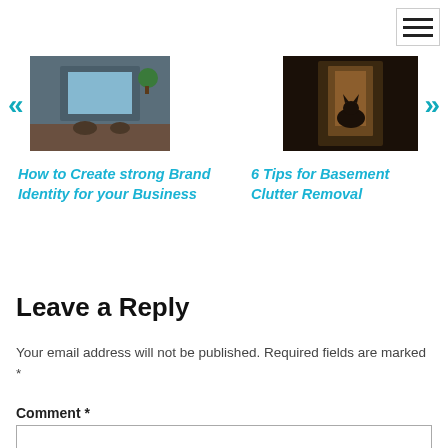[Figure (other): Hamburger menu icon (three horizontal lines) with border, top right corner]
[Figure (photo): Left navigation image: overhead photo of person using laptop on wooden desk]
[Figure (photo): Right navigation image: dark photo of cat or animal near a door]
How to Create strong Brand Identity for your Business
6 Tips for Basement Clutter Removal
Leave a Reply
Your email address will not be published. Required fields are marked *
Comment *